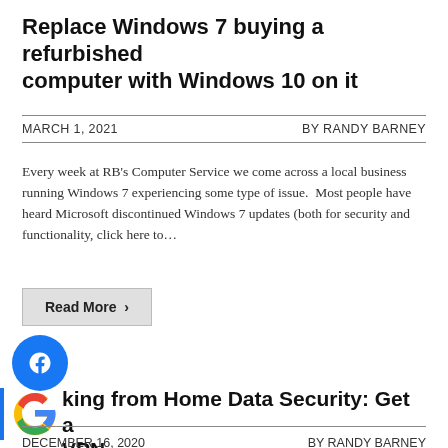Replace Windows 7 buying a refurbished computer with Windows 10 on it
MARCH 1, 2021   BY RANDY BARNEY
Every week at RB's Computer Service we come across a local business running Windows 7 experiencing some type of issue.  Most people have heard Microsoft discontinued Windows 7 updates (both for security and functionality, click here to…
Read More  >
[Figure (logo): Facebook logo icon (blue circle with white F)]
[Figure (logo): Google logo icon (colorful G)]
king from Home Data Security: Get a VPN
DECEMBER 16, 2020   BY RANDY BARNEY
Many people are working from home during COVID to access a business network from outside of the business for the work, called a virtual private network...